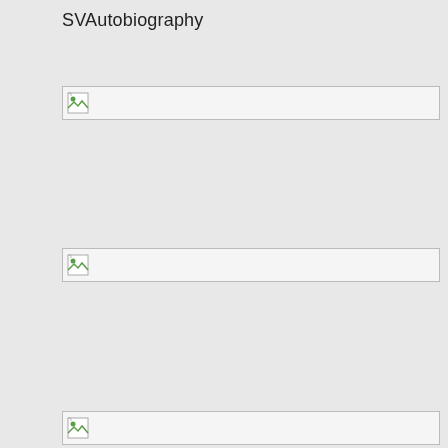SVAutobiography
[Figure (photo): Image placeholder with broken image icon, first image]
[Figure (photo): Image placeholder with broken image icon, second image]
[Figure (photo): Image placeholder with broken image icon, third image (partially visible)]